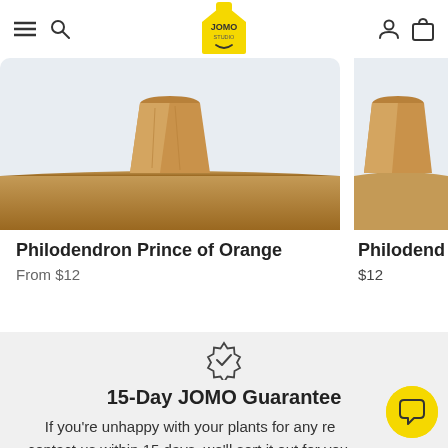JOMO STUDIO — navigation header with hamburger menu, search, logo, account and bag icons
[Figure (photo): Product photo of a brown paper bag/pot on a wooden surface, light blue-grey background — Philodendron Prince of Orange]
Philodendron Prince of Orange
From $12
[Figure (photo): Partial product photo (cropped) — Philodendron (second product)]
Philodend
$12
[Figure (illustration): Badge/rosette icon with a checkmark inside]
15-Day JOMO Guarantee
If you're unhappy with your plants for any re contact us within 15 days, we'll sort it out for you.
[Figure (illustration): Yellow circular chat bubble button in bottom right corner]